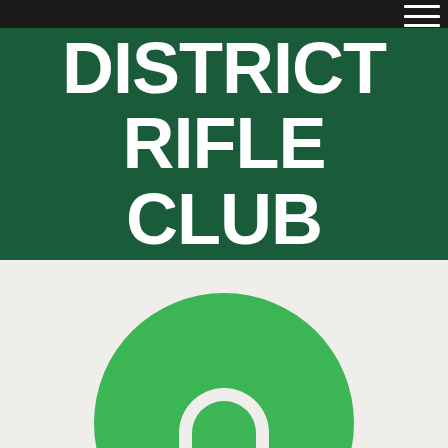IPSWICH & DISTRICT RIFLE CLUB INC.
[Figure (logo): Green circular logo with white arch/horseshoe shape in the center, partially cropped at the bottom of the page]